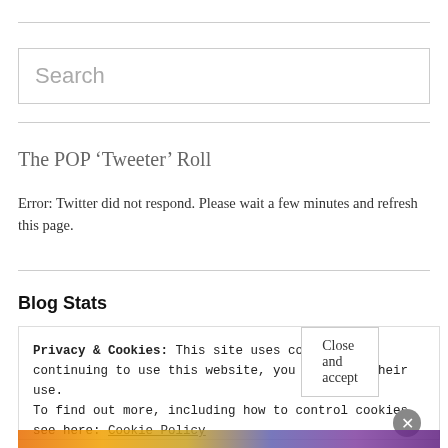[Figure (other): Search input box with placeholder text 'Search']
The POP ‘Tweeter’ Roll
Error: Twitter did not respond. Please wait a few minutes and refresh this page.
Blog Stats
Privacy & Cookies: This site uses cookies. By continuing to use this website, you agree to their use.
To find out more, including how to control cookies, see here: Cookie Policy
Close and accept